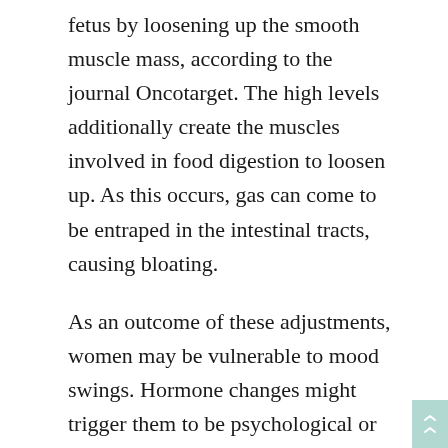fetus by loosening up the smooth muscle mass, according to the journal Oncotarget. The high levels additionally create the muscles involved in food digestion to loosen up. As this occurs, gas can come to be entraped in the intestinal tracts, causing bloating.
As an outcome of these adjustments, women may be vulnerable to mood swings. Hormone changes might trigger them to be psychological or moody. Mood swings can take place as early as 4-5 DPO and also tend to continue throughout the pregnancy. Strange [icons] food cravings are a staple cliche in television as well as films about pregnant women. Many